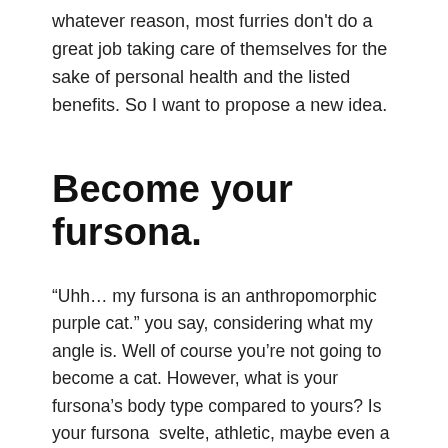whatever reason, most furries don't do a great job taking care of themselves for the sake of personal health and the listed benefits. So I want to propose a new idea.
Become your fursona.
“Uhh… my fursona is an anthropomorphic purple cat.” you say, considering what my angle is. Well of course you’re not going to become a cat. However, what is your fursona’s body type compared to yours? Is your fursona svelte, athletic, maybe even a body builder while your own body is doughy or borderline obese? Treat your fursona as the ideal you can become rather than as an escape from daily life. You made your fursona the way you did because there was something